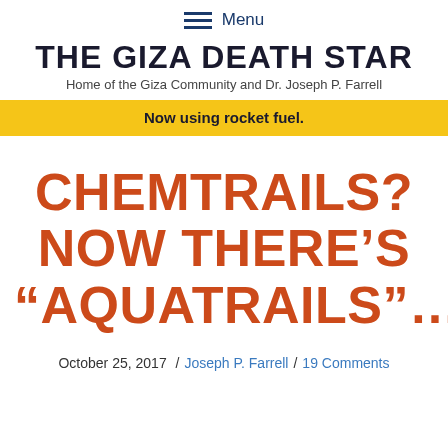Menu
THE GIZA DEATH STAR
Home of the Giza Community and Dr. Joseph P. Farrell
Now using rocket fuel.
CHEMTRAILS? NOW THERE'S “AQUATRAILS”…
October 25, 2017 / Joseph P. Farrell / 19 Comments